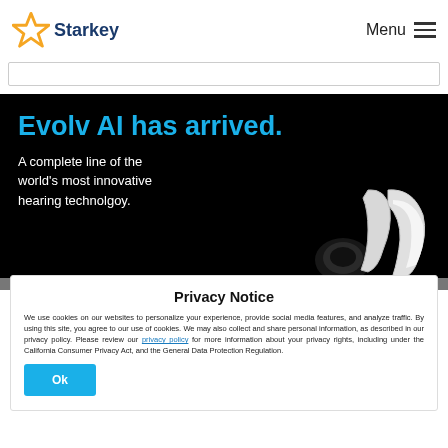Starkey — Menu
[Figure (screenshot): Starkey hearing aids website header with star logo and Menu hamburger icon]
[Figure (photo): Hero banner with black background: 'Evolv AI has arrived. A complete line of the world's most innovative hearing technolgoy.' with hearing aid devices on the right]
Privacy Notice
We use cookies on our websites to personalize your experience, provide social media features, and analyze traffic. By using this site, you agree to our use of cookies. We may also collect and share personal information, as described in our privacy policy. Please review our privacy policy for more information about your privacy rights, including under the California Consumer Privacy Act, and the General Data Protection Regulation.
Ok